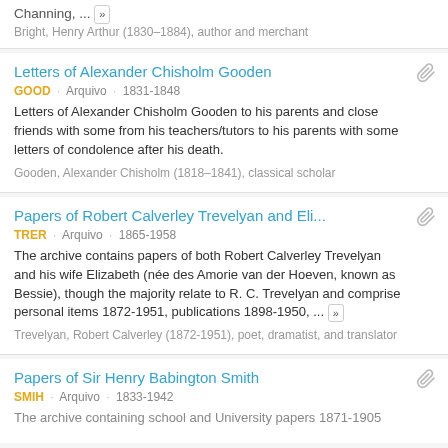Channing, ... »
Bright, Henry Arthur (1830–1884), author and merchant
Letters of Alexander Chisholm Gooden
GOOD · Arquivo · 1831-1848
Letters of Alexander Chisholm Gooden to his parents and close friends with some from his teachers/tutors to his parents with some letters of condolence after his death.
Gooden, Alexander Chisholm (1818–1841), classical scholar
Papers of Robert Calverley Trevelyan and Eli...
TRER · Arquivo · 1865-1958
The archive contains papers of both Robert Calverley Trevelyan and his wife Elizabeth (née des Amorie van der Hoeven, known as Bessie), though the majority relate to R. C. Trevelyan and comprise personal items 1872-1951, publications 1898-1950, ... »
Trevelyan, Robert Calverley (1872-1951), poet, dramatist, and translator
Papers of Sir Henry Babington Smith
SMIH · Arquivo · 1833-1942
The archive containing school and University papers 1871-1905